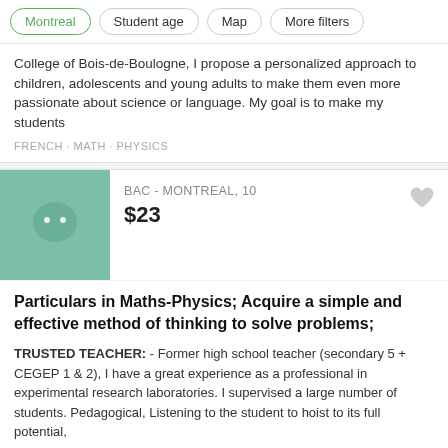Montreal | Student age | Map | More filters
College of Bois-de-Boulogne, I propose a personalized approach to children, adolescents and young adults to make them even more passionate about science or language. My goal is to make my students
FRENCH · MATH · PHYSICS
BAC - MONTREAL, 10
$23
Particulars in Maths-Physics; Acquire a simple and effective method of thinking to solve problems;
TRUSTED TEACHER: - Former high school teacher (secondary 5 + CEGEP 1 & 2), I have a great experience as a professional in experimental research laboratories. I supervised a large number of students. Pedagogical, Listening to the student to hoist to its full potential,
MATH · PHYSICS
ZINEB - MONTREAL, 10